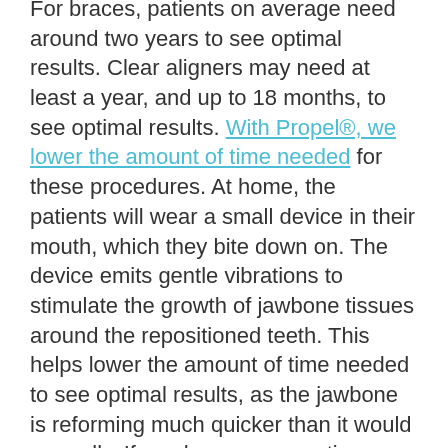For braces, patients on average need around two years to see optimal results. Clear aligners may need at least a year, and up to 18 months, to see optimal results. With Propel®, we lower the amount of time needed for these procedures. At home, the patients will wear a small device in their mouth, which they bite down on. The device emits gentle vibrations to stimulate the growth of jawbone tissues around the repositioned teeth. This helps lower the amount of time needed to see optimal results, as the jawbone is reforming much quicker than it would normally. If you have any questions about treating misalignment, or about our Accelerated Orthodontics technology, then contact our team today.
DO YOU HAVE QUESTIONS